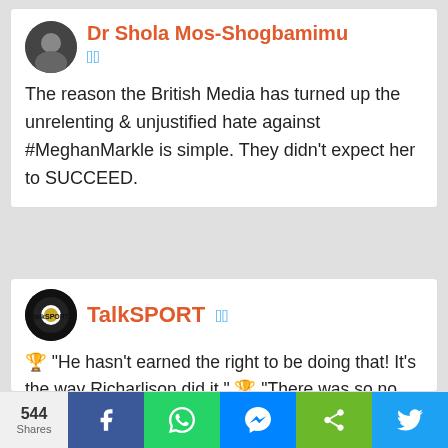[Figure (screenshot): Tweet by Dr Shola Mos-Shogbamimu with verified badge and avatar]
The reason the British Media has turned up the unrelenting & unjustified hate against #MeghanMarkle is simple. They didn't expect her to SUCCEED.
[Figure (screenshot): Tweet by TalkSPORT with verified badge and logo avatar]
🏆 "He hasn't earned the right to be doing that! It's the way Richarlison did it." 🏆 "There was so no class! It was cheap, ugly, horrible and a lack of respect." 🏆 "It's
544 Shares